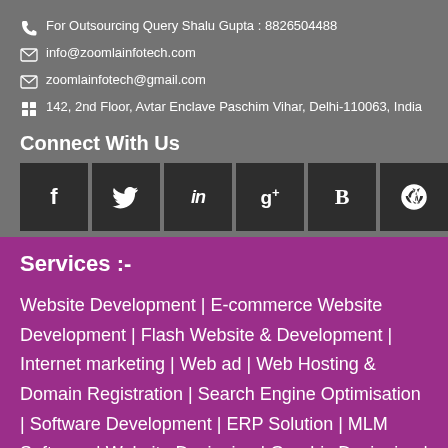For Outsourcing Query Shalu Gupta : 8826504488
info@zoomlainfotech.com
zoomlainfotech@gmail.com
142, 2nd Floor, Avtar Enclave Paschim Vihar, Delhi-110063, India
Connect With Us
[Figure (infographic): Row of 6 social media icon buttons: Facebook (f), Twitter (bird), LinkedIn (in), Google+ (g+), Blogger (B), WordPress (wp)]
Services :-
Website Development | E-commerce Website Development | Flash Website & Development | Internet marketing | Web ad | Web Hosting & Domain Registration | Search Engine Optimisation | Software Development | ERP Solution | MLM Software | Website Designing | Graphic Designing | Logo Designing | Catalogue designing